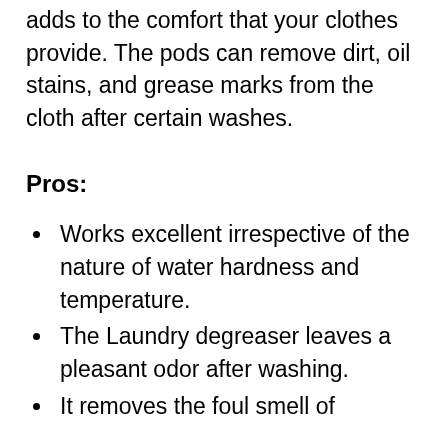adds to the comfort that your clothes provide. The pods can remove dirt, oil stains, and grease marks from the cloth after certain washes.
Pros:
Works excellent irrespective of the nature of water hardness and temperature.
The Laundry degreaser leaves a pleasant odor after washing.
It removes the foul smell of